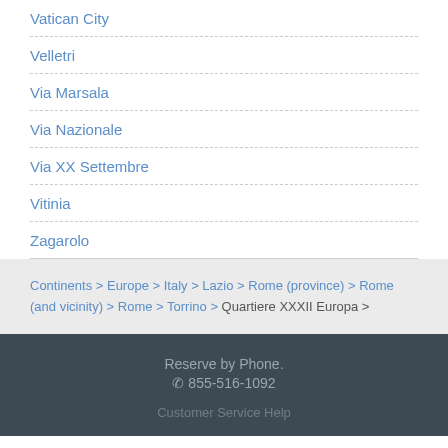Vatican City
Velletri
Via Marsala
Via Nazionale
Via XX Settembre
Vitinia
Zagarolo
Continents > Europe > Italy > Lazio > Rome (province) > Rome (and vicinity) > Rome > Torrino > Quartiere XXXII Europa >
Reserve by Phone. ☎ 855-516-1092 Customer Service Help